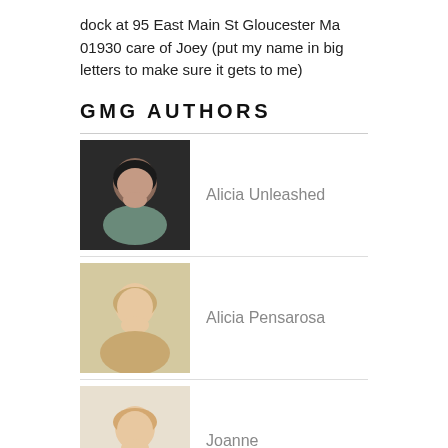dock at 95 East Main St Gloucester Ma 01930 care of Joey (put my name in big letters to make sure it gets to me)
GMG AUTHORS
Alicia Unleashed
Alicia Pensarosa
Joanne
Joey Ciaramitaro
(author with photo, name not shown)